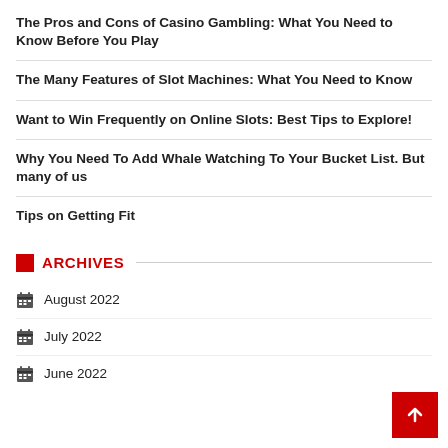The Pros and Cons of Casino Gambling: What You Need to Know Before You Play
The Many Features of Slot Machines: What You Need to Know
Want to Win Frequently on Online Slots: Best Tips to Explore!
Why You Need To Add Whale Watching To Your Bucket List. But many of us
Tips on Getting Fit
ARCHIVES
August 2022
July 2022
June 2022